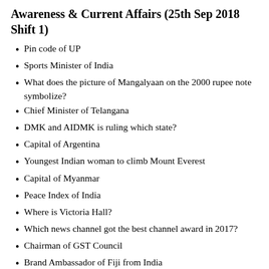Awareness & Current Affairs (25th Sep 2018 Shift 1)
Pin code of UP
Sports Minister of India
What does the picture of Mangalyaan on the 2000 rupee note symbolize?
Chief Minister of Telangana
DMK and AIDMK is ruling which state?
Capital of Argentina
Youngest Indian woman to climb Mount Everest
Capital of Myanmar
Peace Index of India
Where is Victoria Hall?
Which news channel got the best channel award in 2017?
Chairman of GST Council
Brand Ambassador of Fiji from India
Who got the 64th National Film Award?